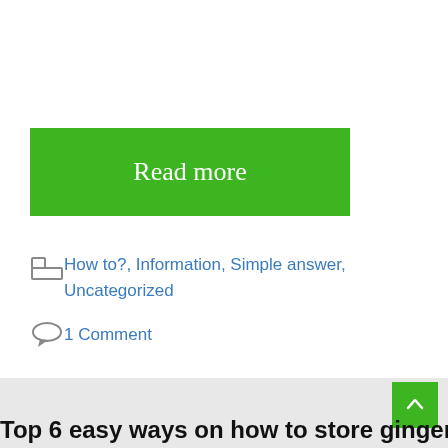Read more
How to?, Information, Simple answer, Uncategorized
1 Comment
Top 6 easy ways on how to store ginger